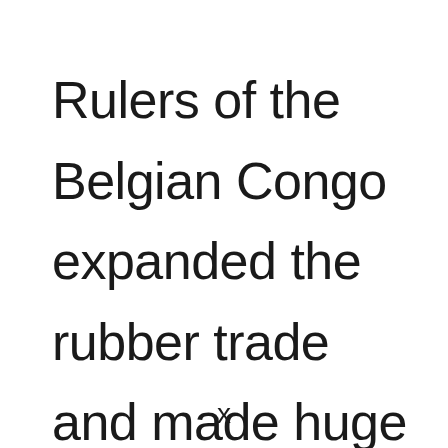Rulers of the Belgian Congo expanded the rubber trade and made huge plantations of rubber trees to profit off